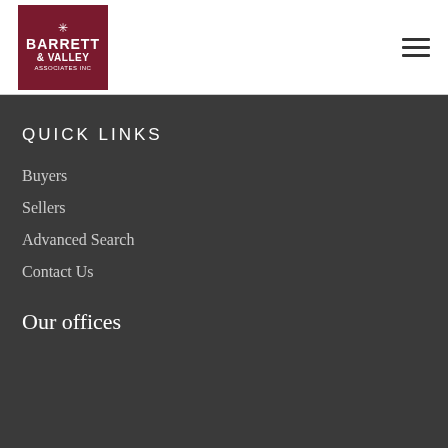[Figure (logo): Barrett & Valley Associates Inc. logo — dark red background with white text and star/snowflake icon]
QUICK LINKS
Buyers
Sellers
Advanced Search
Contact Us
Our offices